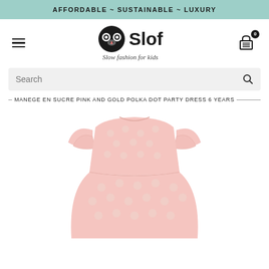AFFORDABLE ~ SUSTAINABLE ~ LUXURY
[Figure (logo): Slof logo with sloth face icon and tagline 'Slow fashion for kids']
Search
MANEGE EN SUCRE PINK AND GOLD POLKA DOT PARTY DRESS 6 YEARS
[Figure (photo): Pink and gold polka dot party dress with ruffle sleeves for children, shown from the back/top]